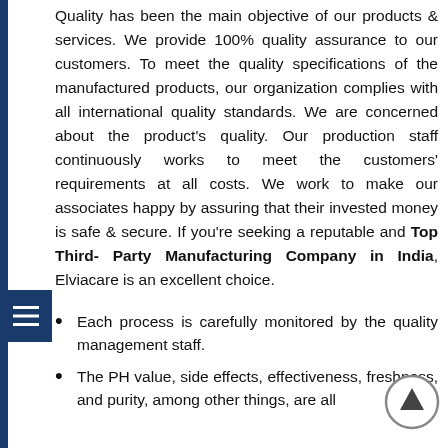Quality has been the main objective of our products & services. We provide 100% quality assurance to our customers. To meet the quality specifications of the manufactured products, our organization complies with all international quality standards. We are concerned about the product's quality. Our production staff continuously works to meet the customers' requirements at all costs. We work to make our associates happy by assuring that their invested money is safe & secure. If you're seeking a reputable and Top Third- Party Manufacturing Company in India, Elviacare is an excellent choice.
Each process is carefully monitored by the quality management staff.
The PH value, side effects, effectiveness, freshness, and purity, among other things, are all important considerations in the production